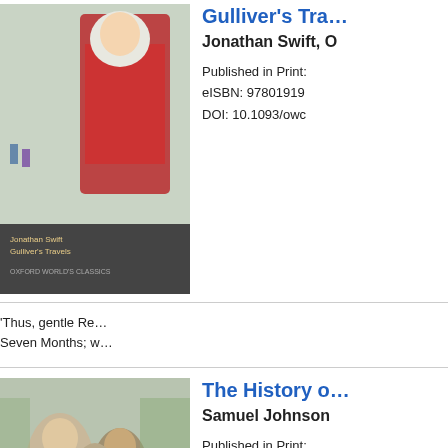[Figure (illustration): Book cover of Gulliver's Travels by Jonathan Swift, Oxford World's Classics edition, showing an illustrated scene from the story]
Gulliver's Travels
Jonathan Swift, O
Published in Print:
eISBN: 97801919
DOI: 10.1093/owc
'Thus, gentle Re… Seven Months; w…
[Figure (illustration): Book cover of The History of Rasselas Prince of Abissinia by Samuel Johnson, Oxford World's Classics edition, showing a painting of figures]
The History of Rasselas
Samuel Johnson
Published in Print:
Published Online:
eISBN: 97801919
DOI: 10.1093/owc
Ye who listen with… who expect that…
[Figure (illustration): Book cover of Joseph Andrews, Oxford World's Classics edition, showing an engraving of figures]
Joseph Andrews
Henry Fielding a